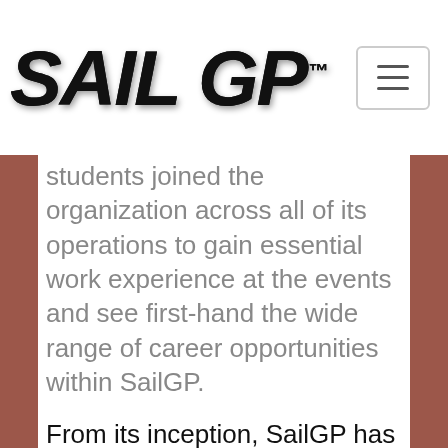SAILGP™
students joined the organization across all of its operations to gain essential work experience at the events and see first-hand the wide range of career opportunities within SailGP.
From its inception, SailGP has been working on developing and implementing a comprehensive strategy that sets out to deliver exemplary sustainability leadership across its operations, and exploring innovative solutions to technical environmental challenges. Embedded throughout the organization, SailGP has been working toward eliminating single-use plastics, tackling food waste, and reducing